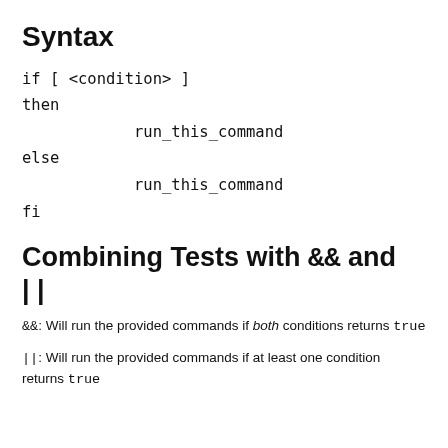Syntax
if [ <condition> ]
then
            run_this_command
else
            run_this_command
fi
Combining Tests with && and ||
&&: Will run the provided commands if both conditions returns true
||: Will run the provided commands if at least one condition returns true